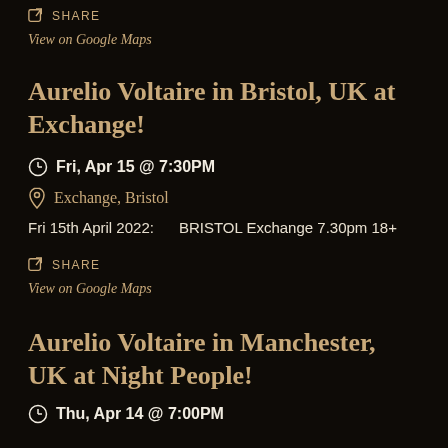SHARE
View on Google Maps
Aurelio Voltaire in Bristol, UK at Exchange!
Fri, Apr 15 @ 7:30PM
Exchange, Bristol
Fri 15th April 2022:      BRISTOL Exchange 7.30pm 18+
SHARE
View on Google Maps
Aurelio Voltaire in Manchester, UK at Night People!
Thu, Apr 14 @ 7:00PM